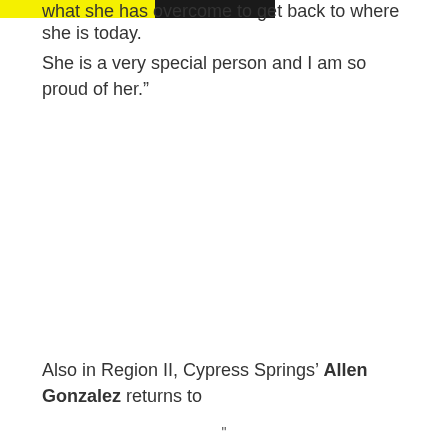what she has overcome to get back to where she is today. She is a very special person and I am so proud of her."
Also in Region II, Cypress Springs' Allen Gonzalez returns to